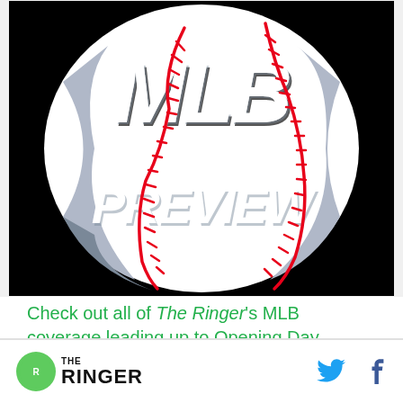[Figure (illustration): MLB Preview graphic: a baseball-shaped globe with bold white letters 'MLB' on top and 'PREVIEW' on the bottom, with red stitching lines over a black background.]
Check out all of The Ringer's MLB coverage leading up to Opening Day
The Ringer logo, Twitter icon, Facebook icon